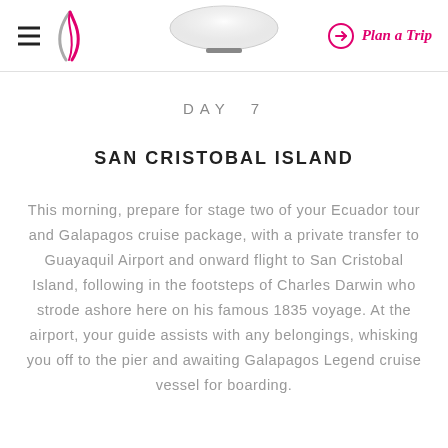≡ [logo] [vessel image] → Plan a Trip
DAY 7
SAN CRISTOBAL ISLAND
This morning, prepare for stage two of your Ecuador tour and Galapagos cruise package, with a private transfer to Guayaquil Airport and onward flight to San Cristobal Island, following in the footsteps of Charles Darwin who strode ashore here on his famous 1835 voyage. At the airport, your guide assists with any belongings, whisking you off to the pier and awaiting Galapagos Legend cruise vessel for boarding.